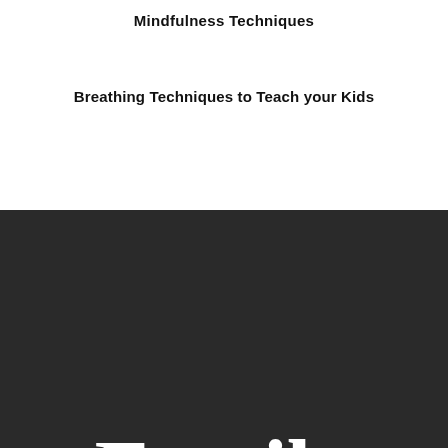Mindfulness Techniques
Breathing Techniques to Teach your Kids
Family
Contact us: info@looppublishing.co.uk
[Figure (logo): Social media icons (Facebook and Twitter/X) on dark background]